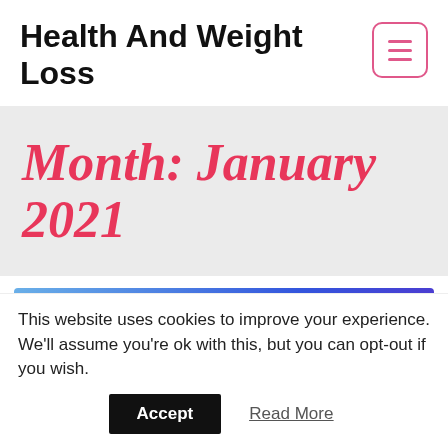Health And Weight Loss
Month: January 2021
[Figure (infographic): Blue gradient banner ad with text 'Struggling To Lose Weight? Find Your Perfect Weight Loss Solution Here']
This website uses cookies to improve your experience. We'll assume you're ok with this, but you can opt-out if you wish.
Accept  Read More